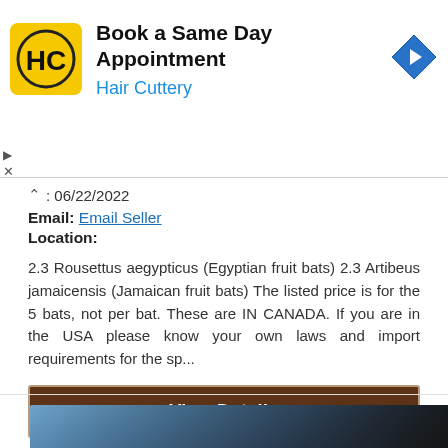[Figure (logo): Hair Cuttery advertisement banner with HC logo (yellow square, black H and C letters), title 'Book a Same Day Appointment', subtitle 'Hair Cuttery' in blue, and a blue diamond-shaped navigation arrow icon on the right.]
06/22/2022
Email: Email Seller
Location:
2.3 Rousettus aegypticus (Egyptian fruit bats) 2.3 Artibeus jamaicensis (Jamaican fruit bats) The listed price is for the 5 bats, not per bat. These are IN CANADA. If you are in the USA please know your own laws and import requirements for the sp...
View Details
[Figure (photo): Bottom portion of a photo showing a dark bluish scene, possibly an animal or outdoor setting with dark tones.]